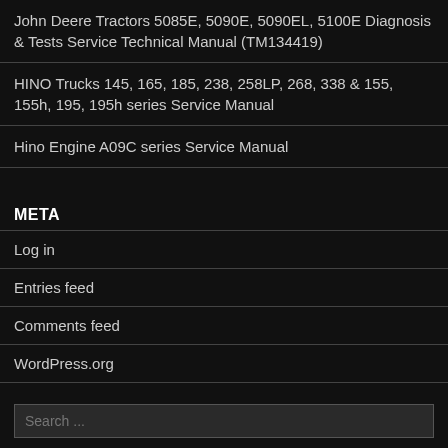John Deere Tractors 5085E, 5090E, 5090EL, 5100E Diagnosis & Tests Service Technical Manual (TM134419)
HINO Trucks 145, 165, 185, 238, 258LP, 268, 338 & 155, 155h, 195, 195h series Service Manual
Hino Engine A09C series Service Manual
META
Log in
Entries feed
Comments feed
WordPress.org
Search ...